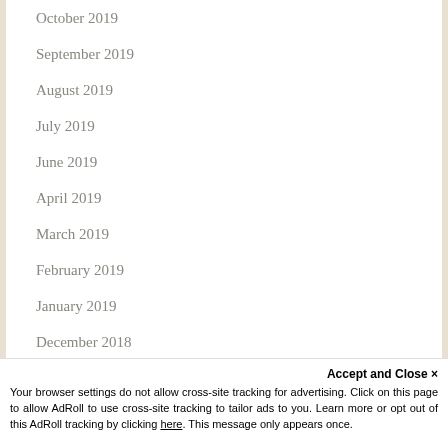October 2019
September 2019
August 2019
July 2019
June 2019
April 2019
March 2019
February 2019
January 2019
December 2018
November 2018
October 2018
Accept and Close ×
Your browser settings do not allow cross-site tracking for advertising. Click on this page to allow AdRoll to use cross-site tracking to tailor ads to you. Learn more or opt out of this AdRoll tracking by clicking here. This message only appears once.